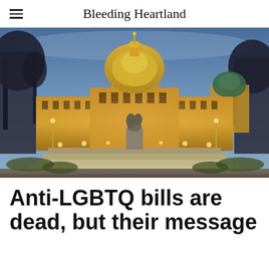Bleeding Heartland
[Figure (photo): Iowa State Capitol building illuminated at dusk/night with golden dome and statue in foreground on steps, bare winter trees on either side, blue twilight sky]
Anti-LGBTQ bills are dead, but their message